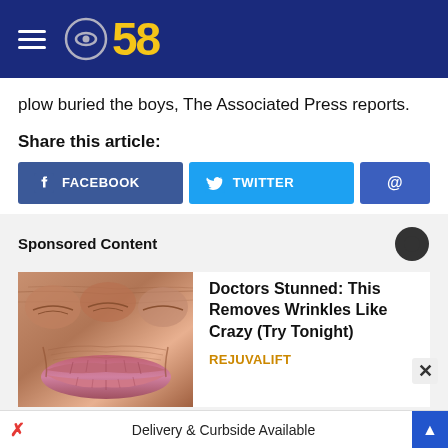CBS 58
plow buried the boys, The Associated Press reports.
Share this article:
FACEBOOK  TWITTER  @
Sponsored Content
[Figure (photo): Close-up photo of elderly wrinkled skin around mouth area]
Doctors Stunned: This Removes Wrinkles Like Crazy (Try Tonight)
REJUVALIFT
Delivery & Curbside Available